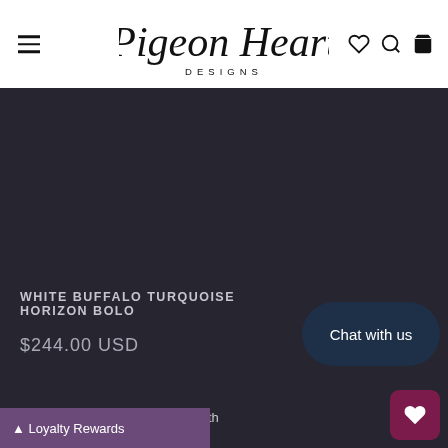Pigeon Heart DESIGNS
[Figure (photo): Dark background product photo area for White Buffalo Turquoise Horizon Bolo jewelry piece]
WHITE BUFFALO TURQUOISE HORIZON BOLO
$244.00 USD
rling silver, handmade bolo tie with
Chat with us
Loyalty Rewards